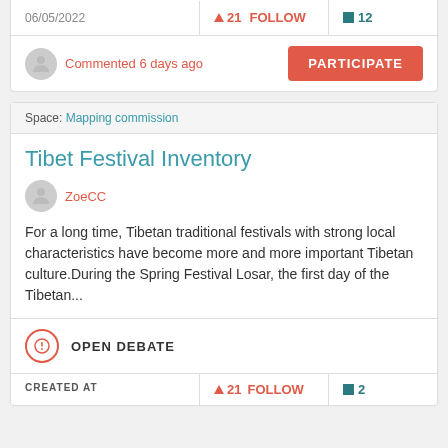06/05/2022
▲ 21  FOLLOW
■ 12
Commented 6 days ago
PARTICIPATE
Space: Mapping commission
Tibet Festival Inventory
ZoeCC
For a long time, Tibetan traditional festivals with strong local characteristics have become more and more important Tibetan culture.During the Spring Festival Losar, the first day of the Tibetan...
OPEN DEBATE
CREATED AT
▲ 21  FOLLOW
■ 2